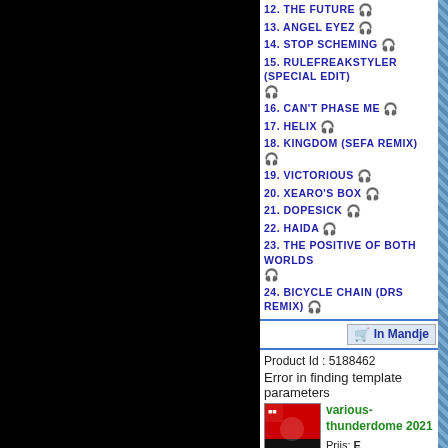12. THE FUTURE 🎧
13. ANGEL EYEZ 🎧
14. STOP SCHEMING 🎧
15. RULEFREAKSTYLER (SPECIAL EDIT) 🎧
16. CAN'T PHASE ME 🎧
17. HELIX 🎧
18. KINGDOM (SEFA REMIX) 🎧
19. VICTORIOUS 🎧
20. XEARO'S BOX 🎧
21. DOPESICK 🎧
22. HAIDA 🎧
23. THE POSITIVE OF BOTH WORLDS 🎧
24. BICYCLE CHAIN (DRS REMIX) 🎧
In Mandje
Product Id : 5188462
Error in finding template parameters
various-thunderdome 2021
Prijs: E